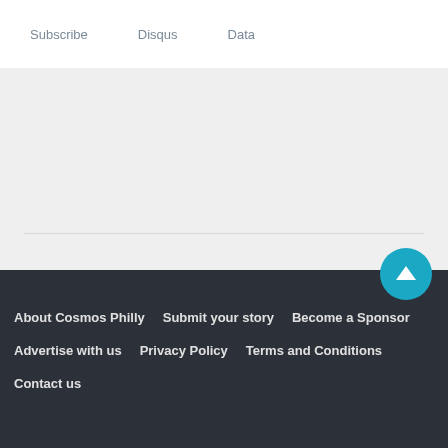Subscribe   Disqus   Data
About Cosmos Philly   Submit your story   Become a Sponsor   Advertise with us   Privacy Policy   Terms and Conditions   Contact us